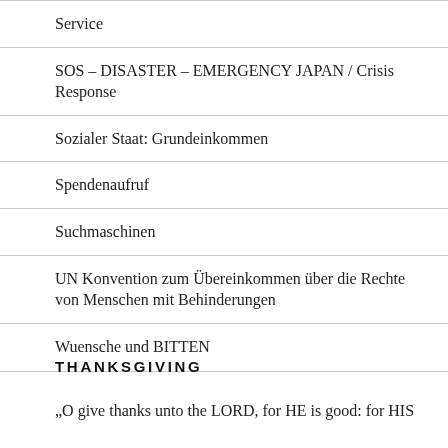Service
SOS – DISASTER – EMERGENCY JAPAN / Crisis Response
Sozialer Staat: Grundeinkommen
Spendenaufruf
Suchmaschinen
UN Konvention zum Übereinkommen über die Rechte von Menschen mit Behinderungen
Wuensche und BITTEN
THANKSGIVING
„O give thanks unto the LORD, for HE is good: for HIS